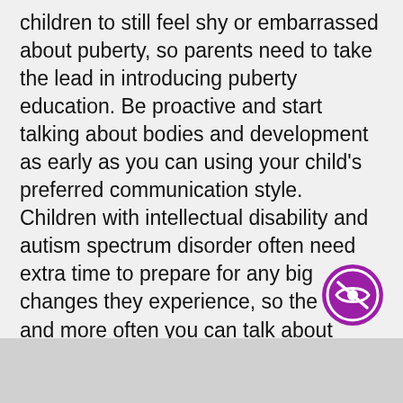children to still feel shy or embarrassed about puberty, so parents need to take the lead in introducing puberty education. Be proactive and start talking about bodies and development as early as you can using your child's preferred communication style. Children with intellectual disability and autism spectrum disorder often need extra time to prepare for any big changes they experience, so the earlier and more often you can talk about things like private parts, hygiene and body development, the easier changes will be to manage. If you haven't started talking to your child about puberty yet, that's OK. It's never too late!
[Figure (logo): Circular purple logo with an eye/privacy icon in white]